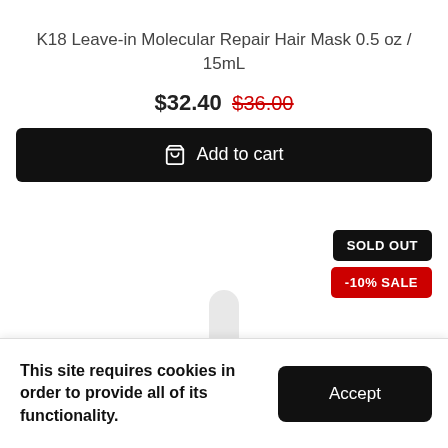K18 Leave-in Molecular Repair Hair Mask 0.5 oz / 15mL
$32.40 $36.00
Add to cart
SOLD OUT
-10% SALE
[Figure (photo): Top of a white product tube/bottle partially visible]
This site requires cookies in order to provide all of its functionality.
Accept